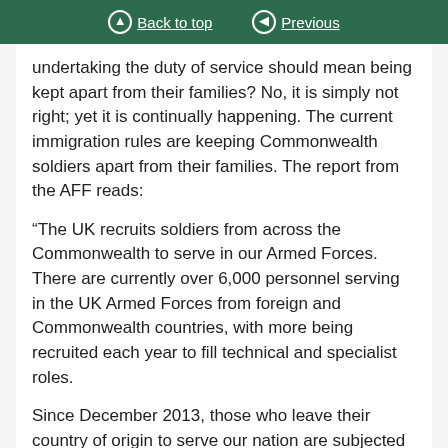Back to top | Previous
undertaking the duty of service should mean being kept apart from their families? No, it is simply not right; yet it is continually happening. The current immigration rules are keeping Commonwealth soldiers apart from their families. The report from the AFF reads:
“The UK recruits soldiers from across the Commonwealth to serve in our Armed Forces. There are currently over 6,000 personnel serving in the UK Armed Forces from foreign and Commonwealth countries, with more being recruited each year to fill technical and specialist roles.
Since December 2013, those who leave their country of origin to serve our nation are subjected to the